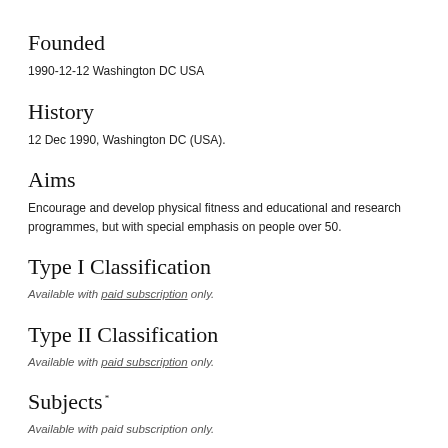Founded
1990-12-12 Washington DC USA
History
12 Dec 1990, Washington DC (USA).
Aims
Encourage and develop physical fitness and educational and research programmes, but with special emphasis on people over 50.
Type I Classification
Available with paid subscription only.
Type II Classification
Available with paid subscription only.
Subjects *
Available with paid subscription only.